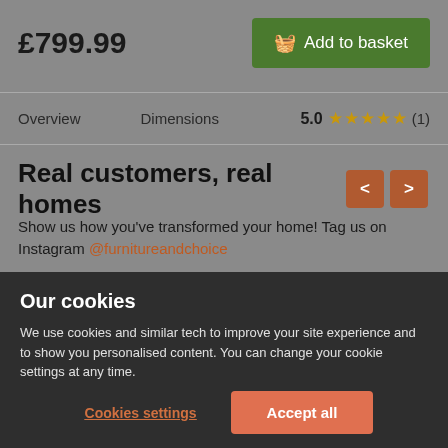£799.99
Add to basket
Overview
Dimensions
5.0 ★★★★★ (1)
Real customers, real homes
Show us how you've transformed your home! Tag us on Instagram @furnitureandchoice
Our cookies
We use cookies and similar tech to improve your site experience and to show you personalised content. You can change your cookie settings at any time.
Cookies settings
Accept all